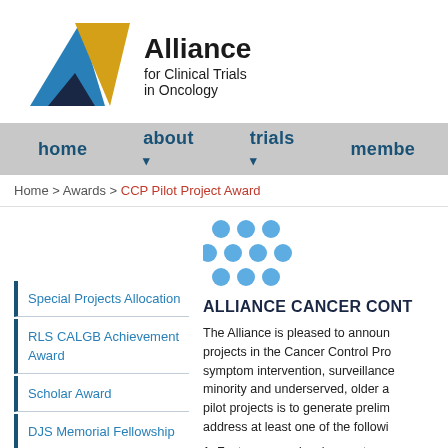[Figure (logo): Alliance for Clinical Trials in Oncology logo with triangle made of blue, gold, and dark navy shapes]
home  about  trials  membe
Home > Awards > CCP Pilot Project Award
[Figure (illustration): 3x3 grid of blue circular dots icon]
ALLIANCE CANCER CONT
The Alliance is pleased to announce projects in the Cancer Control Pro symptom intervention, surveillance minority and underserved, older a pilot projects is to generate prelim address at least one of the followi
Special Projects Allocation
RLS CALGB Achievement Award
Scholar Award
DJS Memorial Fellowship
Moertel Lecturer
Foster career development through a mentored resear
Generate research within th